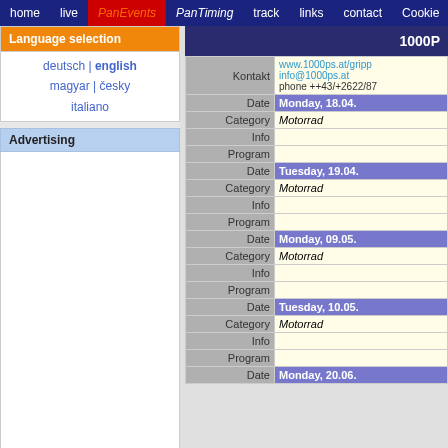home | live | PanEvents | PanTiming | track | links | contact | Cookie
Language selection
deutsch | english
magyar | česky
italiano
Advertising
|  |  |
| --- | --- |
|  | 1000P |
| Kontakt | www.1000ps.at/gripp info@1000ps.at phone ++43/+2622/87 |
| Date | Monday, 18.04. |
| Category | Motorrad |
| Info |  |
| Program |  |
| Date | Tuesday, 19.04. |
| Category | Motorrad |
| Info |  |
| Program |  |
| Date | Monday, 09.05. |
| Category | Motorrad |
| Info |  |
| Program |  |
| Date | Tuesday, 10.05. |
| Category | Motorrad |
| Info |  |
| Program |  |
| Date | Monday, 20.06. |